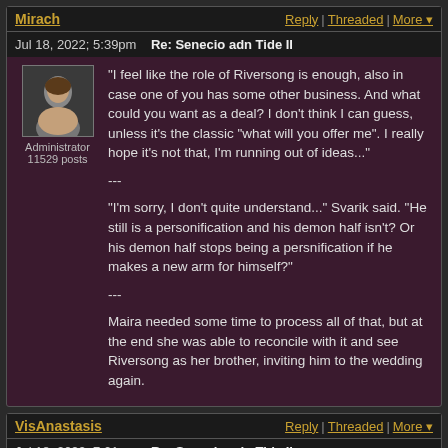Mirach | Reply | Threaded | More
Jul 18, 2022; 5:39pm   Re: Senecio adn Tide II
"I feel like the role of Riversong is enough, also in case one of you has some other business. And what could you want as a deal? I don't think I can guess, unless it's the classic "what will you offer me". I really hope it's not that, I'm running out of ideas..."

---

"I'm sorry, I don't quite understand..." Svarik said. "He still is a personification and his demon half isn't? Or his demon half stops being a persnification if he makes a new arm for himself?"

---

Maira needed some time to process all of that, but at the end she was able to reconcile with it and see Riversong as her brother, inviting him to the wedding again.
VisAnastasis | Reply | Threaded | More
Jul 18, 2022; 7:01pm   Re: Senecio adn Tide II